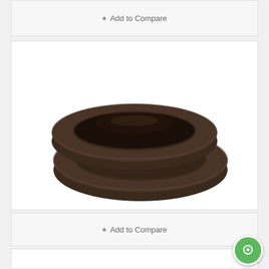+ Add to Compare
[Figure (photo): Two dark brown/black circular foam pads stacked slightly offset, product photo on white background]
tranquileyes™ Foam Replacement Kit
+ Add to Compare
[Figure (other): Green chat bubble icon in bottom right corner]